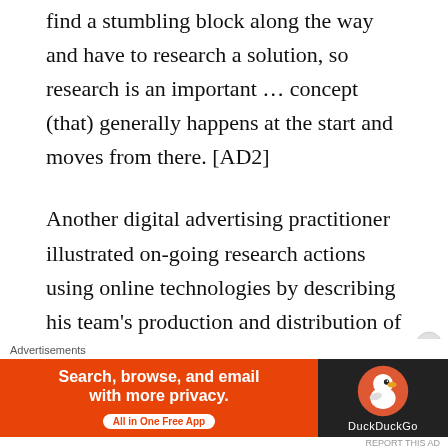find a stumbling block along the way and have to research a solution, so research is an important ... concept (that) generally happens at the start and moves from there. [AD2]
Another digital advertising practitioner illustrated on-going research actions using online technologies by describing his team's production and distribution of a weekly email to colleagues on digital advertising innovation. This action was described as offering a means of keeping colleagues informed of digital media innovation and...
[Figure (other): DuckDuckGo advertisement banner: orange left panel with text 'Search, browse, and email with more privacy. All in One Free App' and dark right panel with DuckDuckGo logo and name.]